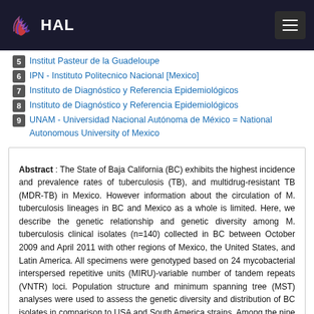HAL
5 Institut Pasteur de la Guadeloupe
6 IPN - Instituto Politecnico Nacional [Mexico]
7 Instituto de Diagnóstico y Referencia Epidemiológicos
8 Instituto de Diagnóstico y Referencia Epidemiológicos
9 UNAM - Universidad Nacional Autónoma de México = National Autonomous University of Mexico
Abstract : The State of Baja California (BC) exhibits the highest incidence and prevalence rates of tuberculosis (TB), and multidrug-resistant TB (MDR-TB) in Mexico. However information about the circulation of M. tuberculosis lineages in BC and Mexico as a whole is limited. Here, we describe the genetic relationship and genetic diversity among M. tuberculosis clinical isolates (n=140) collected in BC between October 2009 and April 2011 with other regions of Mexico, the United States, and Latin America. All specimens were genotyped based on 24 mycobacterial interspersed repetitive units (MIRU)-variable number of tandem repeats (VNTR) loci. Population structure and minimum spanning tree (MST) analyses were used to assess the genetic diversity and distribution of BC isolates in comparison to USA and South America strains. Among the nine lineages observed, LAM, Haarlem and S were the most frequent identified in BC. Population structure analysis clustered most BC isolates (41%) into three distinctive groups that included strains from San Diego and South